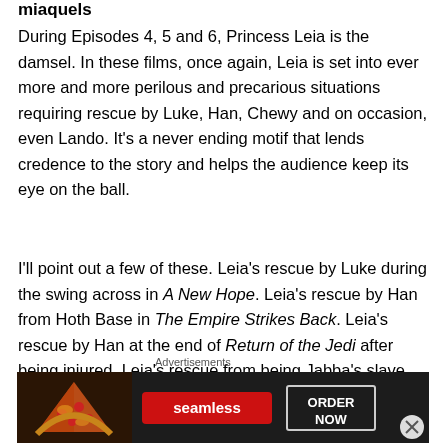miaquels
During Episodes 4, 5 and 6, Princess Leia is the damsel. In these films, once again, Leia is set into ever more and more perilous and precarious situations requiring rescue by Luke, Han, Chewy and on occasion, even Lando. It’s a never ending motif that lends credence to the story and helps the audience keep its eye on the ball.
I’ll point out a few of these. Leia’s rescue by Luke during the swing across in A New Hope. Leia’s rescue by Han from Hoth Base in The Empire Strikes Back. Leia’s rescue by Han at the end of Return of the Jedi after being injured. Leia’s rescue from being Jabba’s slave. There’s nothing more motivating to another character and satisfying from
Advertisements
[Figure (photo): Seamless food delivery advertisement showing pizza and ORDER NOW button]